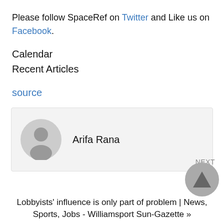Please follow SpaceRef on Twitter and Like us on Facebook.
Calendar
Recent Articles
source
Arifa Rana
Lobbyists' influence is only part of problem | News, Sports, Jobs - Williamsport Sun-Gazette »